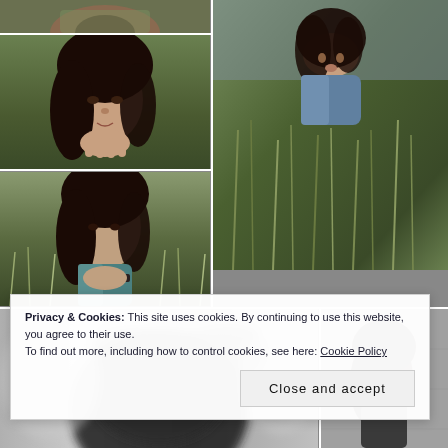[Figure (photo): Grid of portrait photographs of a young woman with dark hair, in outdoor settings with grass/field backgrounds, one black and white blurred shot, one against a wall. One photo shows her upside down.]
Privacy & Cookies: This site uses cookies. By continuing to use this website, you agree to their use.
To find out more, including how to control cookies, see here: Cookie Policy
Close and accept